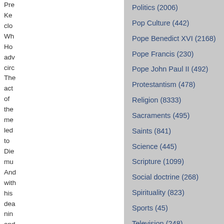Pre
Ke
clo
Wh
Ho
adv
circ
The
act
of
the
me
led
to
Die
mu
And
with
his
dea
nin
and
a
Politics (2006)
Pop Culture (442)
Pope Benedict XVI (2168)
Pope Francis (230)
Pope John Paul II (492)
Protestantism (478)
Religion (8333)
Sacraments (495)
Saints (841)
Science (445)
Scripture (1099)
Social doctrine (268)
Spirituality (823)
Sports (45)
Television (248)
The Papacy (858)